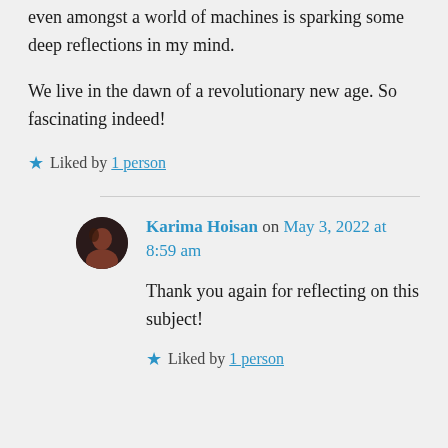even amongst a world of machines is sparking some deep reflections in my mind.
We live in the dawn of a revolutionary new age. So fascinating indeed!
★ Liked by 1 person
Karima Hoisan on May 3, 2022 at 8:59 am
Thank you again for reflecting on this subject!
★ Liked by 1 person